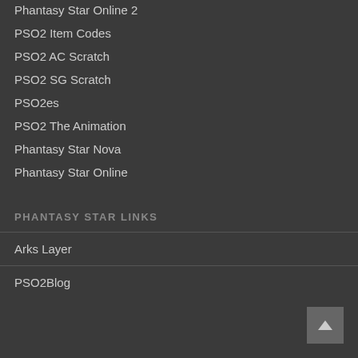Phantasy Star Online 2
PSO2 Item Codes
PSO2 AC Scratch
PSO2 SG Scratch
PSO2es
PSO2 The Animation
Phantasy Star Nova
Phantasy Star Online
PHANTASY STAR LINKS
Arks Layer
PSO2Blog